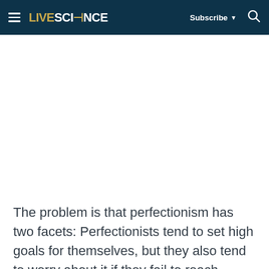LIVESCIENCE  Subscribe  🔍
The problem is that perfectionism has two facets: Perfectionists tend to set high goals for themselves, but they also tend to worry about it if they fail to reach extreme levels of performance. The high goals